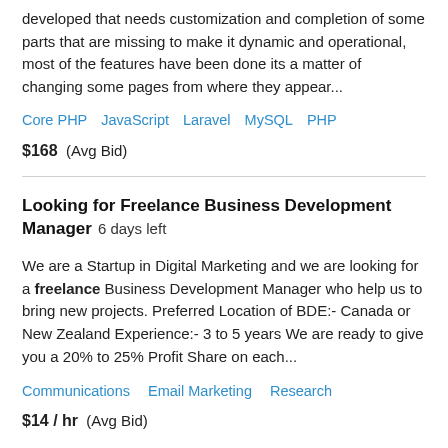developed that needs customization and completion of some parts that are missing to make it dynamic and operational, most of the features have been done its a matter of changing some pages from where they appear...
Core PHP   JavaScript   Laravel   MySQL   PHP
$168  (Avg Bid)
Looking for Freelance Business Development Manager  6 days left
We are a Startup in Digital Marketing and we are looking for a freelance Business Development Manager who help us to bring new projects. Preferred Location of BDE:- Canada or New Zealand Experience:- 3 to 5 years We are ready to give you a 20% to 25% Profit Share on each...
Communications   Email Marketing   Research
$14 / hr  (Avg Bid)